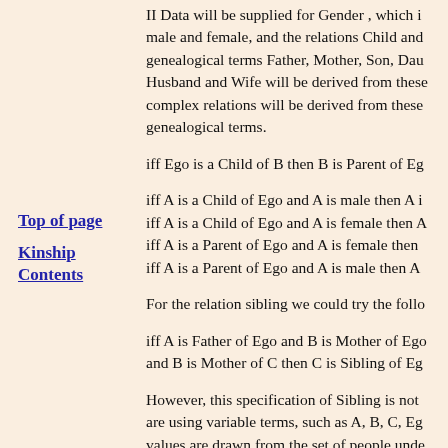II Data will be supplied for Gender , which includes male and female, and the relations Child and Parent. The genealogical terms Father, Mother, Son, Daughter, Husband and Wife will be derived from these. More complex relations will be derived from these basic genealogical terms.
iff Ego is a Child of B then B is Parent of Ego
iff A is a Child of Ego and A is male then A is...
iff A is a Child of Ego and A is female then A...
iff A is a Parent of Ego and A is female then A...
iff A is a Parent of Ego and A is male then A...
Top of page
Kinship Contents
For the relation sibling we could try the follo...
iff A is Father of Ego and B is Mother of Ego... and B is Mother of C then C is Sibling of Ego...
However, this specification of Sibling is not ... are using variable terms, such as A, B, C, Ego... values are drawn from the set of people unde... is nothing to prevent the same person being a... more) variables. This is not a problem for rel... not of the same type, but this definition for S...